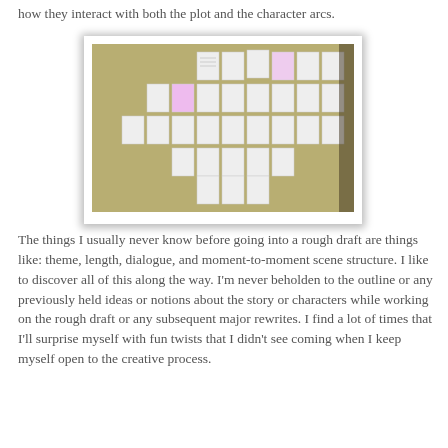how they interact with both the plot and the character arcs.
[Figure (photo): A wall covered with many white index cards or small papers arranged in rows and columns, appearing to be a story outline or scene planning board, against a yellowish-green wall.]
The things I usually never know before going into a rough draft are things like: theme, length, dialogue, and moment-to-moment scene structure. I like to discover all of this along the way. I'm never beholden to the outline or any previously held ideas or notions about the story or characters while working on the rough draft or any subsequent major rewrites. I find a lot of times that I'll surprise myself with fun twists that I didn't see coming when I keep myself open to the creative process.